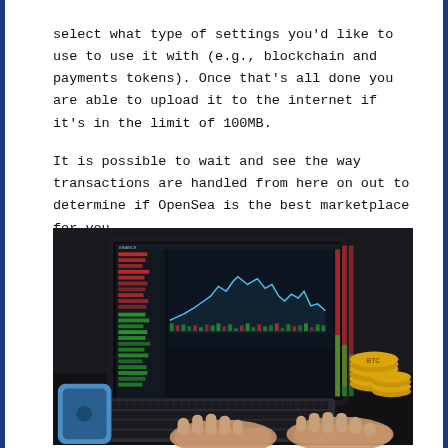select what type of settings you'd like to use to use it with (e.g., blockchain and payments tokens). Once that's all done you are able to upload it to the internet if it's in the limit of 100MB.
It is possible to wait and see the way transactions are handled from here on out to determine if OpenSea is the best marketplace for you.
[Figure (photo): A person typing on a tablet keyboard connected to a tablet displaying a cryptocurrency trading platform (Binance) with charts and order books. Gold coins are visible in the background. A blue iPhone lies on the desk beside the keyboard.]